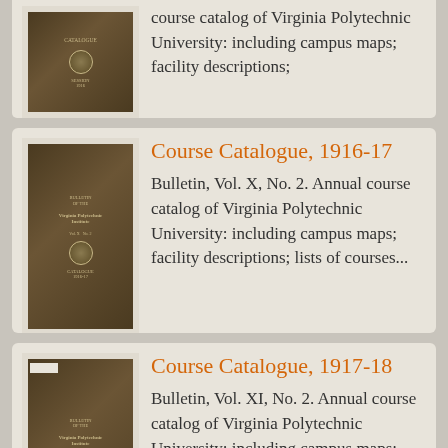[Figure (photo): Thumbnail of a historic course catalog book cover (partially visible, cropped at top)]
course catalog of Virginia Polytechnic University: including campus maps; facility descriptions;
[Figure (photo): Thumbnail of Virginia Polytechnic Institute Bulletin book cover, dark brown]
Course Catalogue, 1916-17
Bulletin, Vol. X, No. 2. Annual course catalog of Virginia Polytechnic University: including campus maps; facility descriptions; lists of courses...
[Figure (photo): Thumbnail of Virginia Polytechnic Institute Bulletin book cover, 1917-18, dark brown]
Course Catalogue, 1917-18
Bulletin, Vol. XI, No. 2. Annual course catalog of Virginia Polytechnic University: including campus maps; facility descriptions;